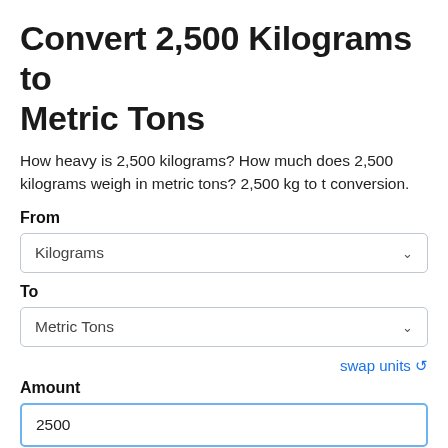Convert 2,500 Kilograms to Metric Tons
How heavy is 2,500 kilograms? How much does 2,500 kilograms weigh in metric tons? 2,500 kg to t conversion.
From
Kilograms
To
Metric Tons
swap units ↺
Amount
2500